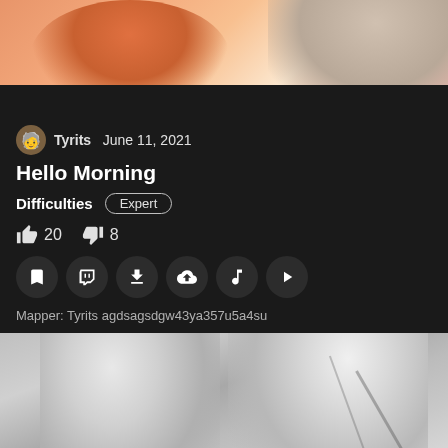[Figure (illustration): Anime-style illustration with orange/peach warm tones, partial view of character(s)]
Tyrits  June 11, 2021
Hello Morning
Difficulties   Expert
👍 20  👎 8
Mapper: Tyrits agdsagsdgw43ya357u5a4su
[Figure (illustration): Anime-style illustration with gray/monochrome tones, showing two white-haired characters]